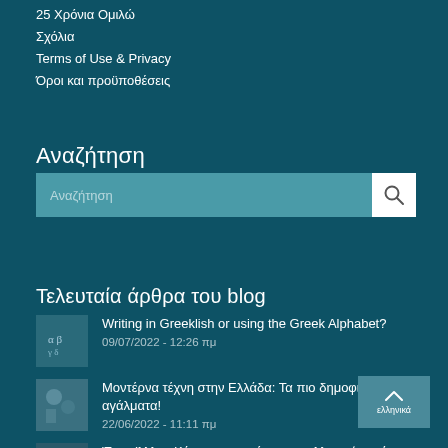25 Χρόνια Ομιλώ
Σχόλια
Terms of Use & Privacy
Όροι και προϋποθέσεις
Αναζήτηση
[Figure (screenshot): Search bar with placeholder text 'Αναζήτηση' and a white search button with magnifying glass icon]
Τελευταία άρθρα του blog
Writing in Greeklish or using the Greek Alphabet?
09/07/2022 - 12:26 πμ
Μοντέρνα τέχνη στην Ελλάδα: Τα πιο δημοφιλή αγάλματα!
22/06/2022 - 11:11 πμ
Ένας Άλλος Κόσμος: μια σύγχρονη ελληνική ταινία